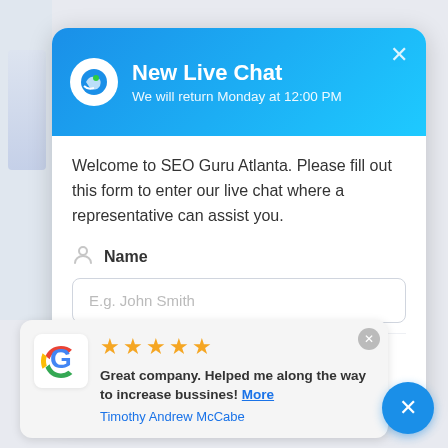[Figure (screenshot): Live chat widget popup for SEO Guru Atlanta. Blue gradient header showing 'New Live Chat' title and subtitle 'We will return Monday at 12:00 PM', with a circular logo icon and X close button. White body with welcome message, Name field label with person icon, a text input placeholder 'E.g. John Smith', partially visible email field, and 'Powered by WooSender' footer. Below the chat widget is a Google review card showing 5 gold stars, review text 'Great company. Helped me along the way to increase bussines! More', author 'Timothy Andrew McCabe', with Google G logo on left, close button top-right, and a blue circular X button bottom-right.]